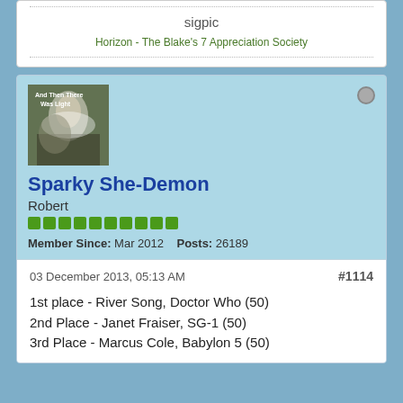sigpic
Horizon - The Blake's 7 Appreciation Society
Sparky She-Demon
Robert
Member Since: Mar 2012    Posts: 26189
03 December 2013, 05:13 AM
#1114
1st place - River Song, Doctor Who (50)
2nd Place - Janet Fraiser, SG-1 (50)
3rd Place - Marcus Cole, Babylon 5 (50)